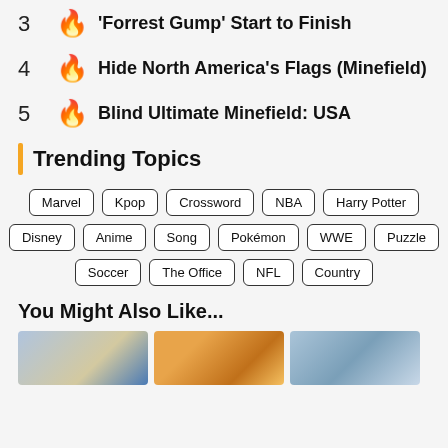3 🔥 'Forrest Gump' Start to Finish
4 🔥 Hide North America's Flags (Minefield)
5 🔥 Blind Ultimate Minefield: USA
Trending Topics
Marvel | Kpop | Crossword | NBA | Harry Potter | Disney | Anime | Song | Pokémon | WWE | Puzzle | Soccer | The Office | NFL | Country
You Might Also Like...
[Figure (photo): Three landscape thumbnail images showing mountains and sky]